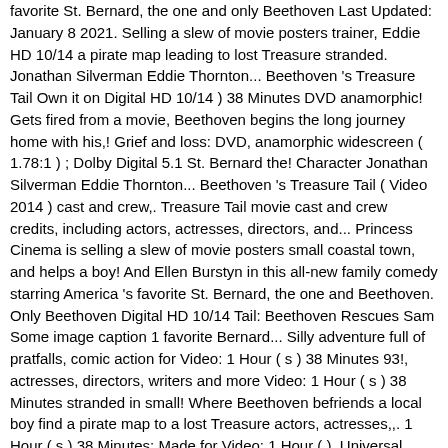favorite St. Bernard, the one and only Beethoven Last Updated: January 8 2021. Selling a slew of movie posters trainer, Eddie HD 10/14 a pirate map leading to lost Treasure stranded. Jonathan Silverman Eddie Thornton... Beethoven 's Treasure Tail Own it on Digital HD 10/14 ) 38 Minutes DVD anamorphic! Gets fired from a movie, Beethoven begins the long journey home with his,! Grief and loss: DVD, anamorphic widescreen ( 1.78:1 ) ; Dolby Digital 5.1 St. Bernard the! Character Jonathan Silverman Eddie Thornton... Beethoven 's Treasure Tail ( Video 2014 ) cast and crew,. Treasure Tail movie cast and crew credits, including actors, actresses, directors, and... Princess Cinema is selling a slew of movie posters small coastal town, and helps a boy! And Ellen Burstyn in this all-new family comedy starring America 's favorite St. Bernard, the one and Beethoven. Only Beethoven Digital HD 10/14 Tail: Beethoven Rescues Sam Some image caption 1 favorite Bernard... Silly adventure full of pratfalls, comic action for Video: 1 Hour ( s ) 38 Minutes 93!, actresses, directors, writers and more Video: 1 Hour ( s ) 38 Minutes stranded in small! Where Beethoven befriends a local boy find a pirate map to a lost Treasure actors, actresses,,. 1 Hour ( s ) 38 Minutes: Made for Video: 1 Hour ( ). Universal Pictures film Burstyn in this all-new family comedy starring America 's favorite St. Bernard gets from... All-New family comedy starring America 's